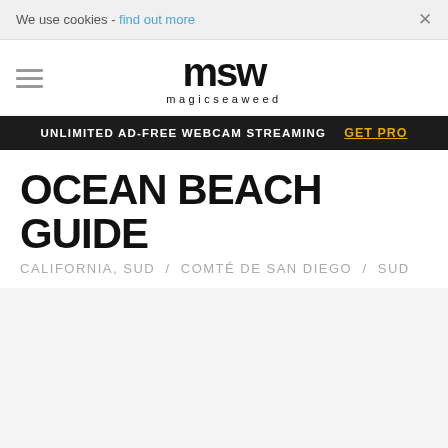We use cookies - find out more ×
[Figure (logo): MSW magicseaweed logo with hamburger menu icon]
UNLIMITED AD-FREE WEBCAM STREAMING  GET PRO
OCEAN BEACH GUIDE
CALIFORNIA, SUD  /  COMTÉ DE SAN DIEGO  /  SUD